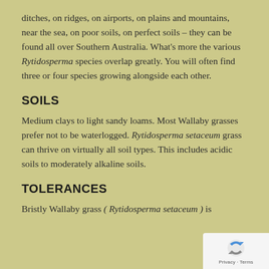ditches, on ridges, on airports, on plains and mountains, near the sea, on poor soils, on perfect soils – they can be found all over Southern Australia. What's more the various Rytidosperma species overlap greatly. You will often find three or four species growing alongside each other.
SOILS
Medium clays to light sandy loams. Most Wallaby grasses prefer not to be waterlogged. Rytidosperma setaceum grass can thrive on virtually all soil types. This includes acidic soils to moderately alkaline soils.
TOLERANCES
Bristly Wallaby grass (Rytidosperma setaceum) is